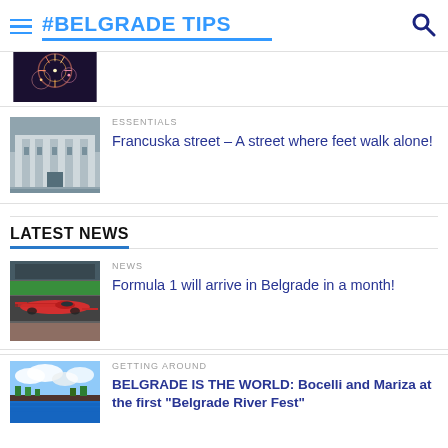#BELGRADE TIPS
[Figure (photo): Partial view of fireworks thumbnail, cropped at top]
(partial article title, cropped)
[Figure (photo): Historic building on Francuska street]
ESSENTIALS
Francuska street – A street where feet walk alone!
LATEST NEWS
[Figure (photo): Formula 1 race car on track]
NEWS
Formula 1 will arrive in Belgrade in a month!
[Figure (photo): Belgrade river view with clouds]
GETTING AROUND
BELGRADE IS THE WORLD: Bocelli and Mariza at the first "Belgrade River Fest"